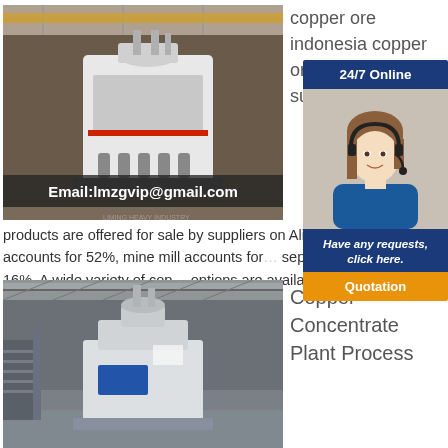[Figure (photo): Industrial mining machine/crusher in a warehouse facility with Email:lmzgvip@gmail.com overlay text]
copper ore indonesia copper ore Supplier About supplier copper products are offered for sale by suppliers on Alibaba, crusher accounts for 52%, mine mill accounts for separator accounts for 16%. A wide variety of copper ore indonesia options are available to you, There are 3,132 suppliers who sells copper ore indonesia on
[Figure (illustration): 24/7 Online chat widget with customer service representative photo, 'Have any requests, click here.' text, and Quotation button]
[Figure (photo): Industrial plant/machinery in large warehouse facility]
Copper Concentrate Plant Process